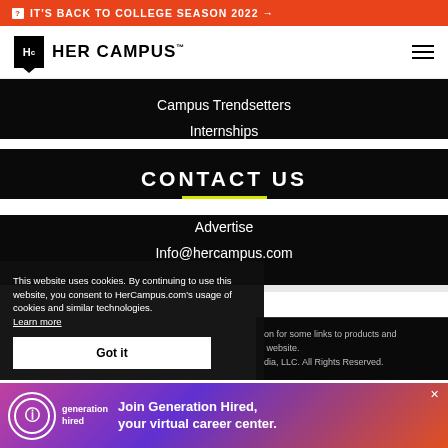IT'S BACK TO COLLEGE SEASON 2022 →
[Figure (logo): Her Campus logo with Hc icon and wordmark]
Campus Trendsetters
Internships
CONTACT US
Advertise
Info@hercampus.com
This website uses cookies. By continuing to use this website, you consent to HerCampus.com's usage of cookies and similar technologies. Learn more
Got it
on for some links to products and website. dia, LLC. All Rights Reserved.
[Figure (infographic): Generation Hired advertisement banner — Join Generation Hired, your virtual career center.]